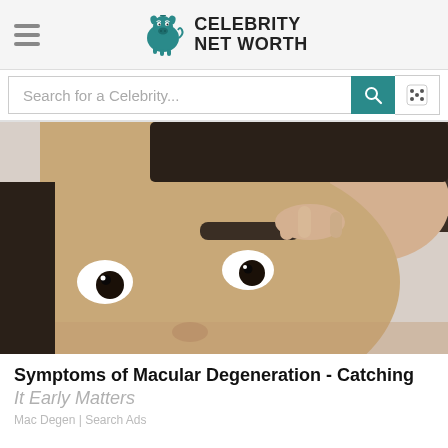Celebrity Net Worth
Search for a Celebrity...
[Figure (photo): Close-up photo of a young Asian woman pulling back her eyebrow/eyelid area with her fingers, looking at the camera]
Symptoms of Macular Degeneration - Catching It Early Matters
Mac Degen | Search Ads